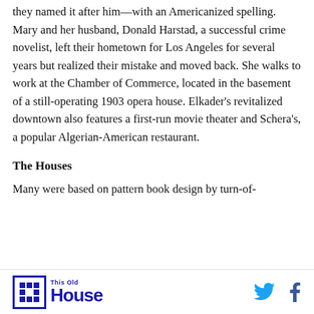they named it after him—with an Americanized spelling. Mary and her husband, Donald Harstad, a successful crime novelist, left their hometown for Los Angeles for several years but realized their mistake and moved back. She walks to work at the Chamber of Commerce, located in the basement of a still-operating 1903 opera house. Elkader's revitalized downtown also features a first-run movie theater and Schera's, a popular Algerian-American restaurant.
The Houses
Many were based on pattern book design by turn-of-
This Old House | Twitter | Facebook